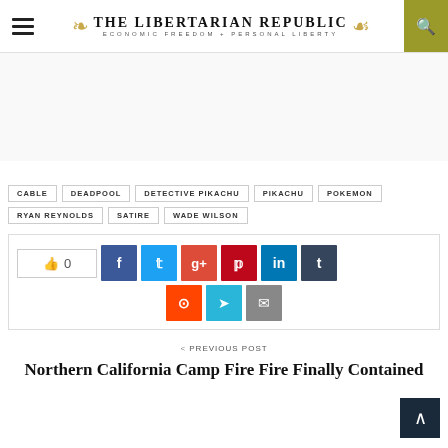THE LIBERTARIAN REPUBLIC — ECONOMIC FREEDOM + PERSONAL LIBERTY
CABLE
DEADPOOL
DETECTIVE PIKACHU
PIKACHU
POKEMON
RYAN REYNOLDS
SATIRE
WADE WILSON
0 (like count) with social share buttons: Facebook, Twitter, Google+, Pinterest, LinkedIn, Tumblr, Reddit, Telegram, Email
< PREVIOUS POST
Northern California Camp Fire Fire Finally Contained